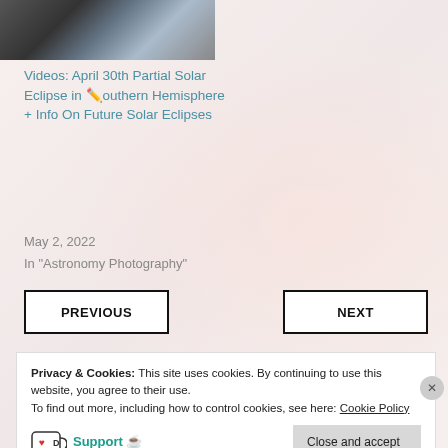[Figure (photo): Partial thumbnail image of a partial solar eclipse or Earth from space, dark/grey tones, top-left corner]
Videos: April 30th Partial Solar Eclipse in Southern Hemisphere + Info On Future Solar Eclipses ✏️
May 2, 2022
In "Astronomy Photography"
PREVIOUS
NEXT
Privacy & Cookies: This site uses cookies. By continuing to use this website, you agree to their use.
To find out more, including how to control cookies, see here: Cookie Policy
Support ☕
Close and accept